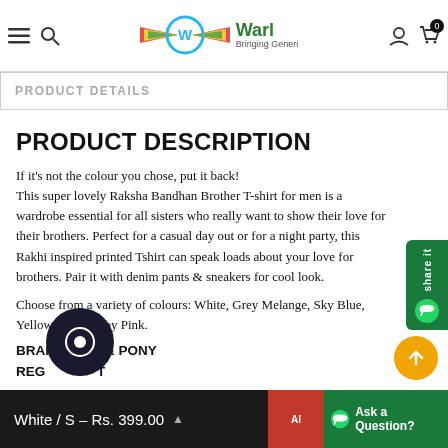Warl — Bringing Genera (navigation bar with logo, hamburger, search, account, cart icons)
PRODUCT DETAILS
PRODUCT DESCRIPTION
If it's not the colour you chose, put it back! This super lovely Raksha Bandhan Brother T-shirt for men is a wardrobe essential for all sisters who really want to show their love for their brothers. Perfect for a casual day out or for a night party, this Rakhi inspired printed Tshirt can speak loads about your love for brothers. Pair it with denim pants & sneakers for cool look.
Choose from a variety of colours: White, Grey Melange, Sky Blue, Yellow, Light Baby Pink.
BRAND: POP & PONY
REGULAR FIT
White / S – Rs. 399.00   Add to Cart   Ask a Question?